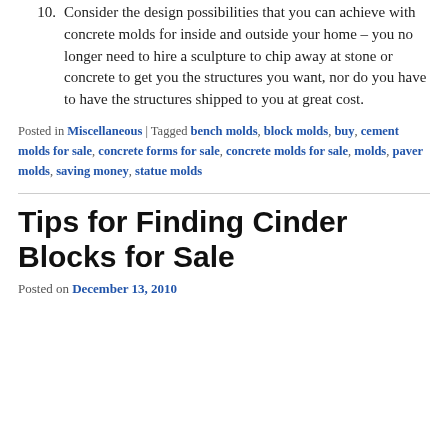10. Consider the design possibilities that you can achieve with concrete molds for inside and outside your home – you no longer need to hire a sculpture to chip away at stone or concrete to get you the structures you want, nor do you have to have the structures shipped to you at great cost.
Posted in Miscellaneous | Tagged bench molds, block molds, buy, cement molds for sale, concrete forms for sale, concrete molds for sale, molds, paver molds, saving money, statue molds
Tips for Finding Cinder Blocks for Sale
Posted on December 13, 2010